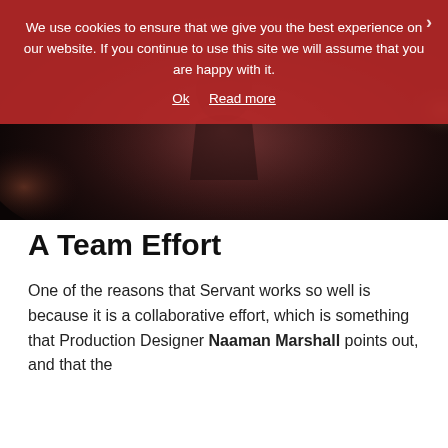[Figure (photo): Dark, moody photograph of a woman in a dimly lit scene, appears to be from the TV show Servant. Woman visible in center, dark background with warm light sources.]
We use cookies to ensure that we give you the best experience on our website. If you continue to use this site we will assume that you are happy with it.
Ok  Read more
A Team Effort
One of the reasons that Servant works so well is because it is a collaborative effort, which is something that Production Designer Naaman Marshall points out, and that the